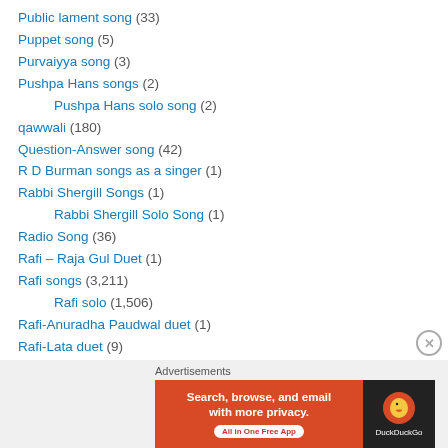Public lament song (33)
Puppet song (5)
Purvaiyya song (3)
Pushpa Hans songs (2)
Pushpa Hans solo song (2)
qawwali (180)
Question-Answer song (42)
R D Burman songs as a singer (1)
Rabbi Shergill Songs (1)
Rabbi Shergill Solo Song (1)
Radio Song (36)
Rafi – Raja Gul Duet (1)
Rafi songs (3,211)
Rafi solo (1,506)
Rafi-Anuradha Paudwal duet (1)
Rafi-Lata duet (9)
Rafi-Bhawani Kumar... (?)
[Figure (screenshot): DuckDuckGo advertisement banner with text: Search, browse, and email with more privacy. All in One Free App]